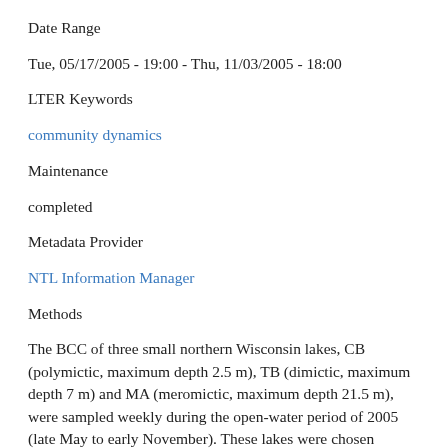Date Range
Tue, 05/17/2005 - 19:00 - Thu, 11/03/2005 - 18:00
LTER Keywords
community dynamics
Maintenance
completed
Metadata Provider
NTL Information Manager
Methods
The BCC of three small northern Wisconsin lakes, CB (polymictic, maximum depth 2.5 m), TB (dimictic, maximum depth 7 m) and MA (meromictic, maximum depth 21.5 m), were sampled weekly during the open-water period of 2005 (late May to early November). These lakes were chosen because of their